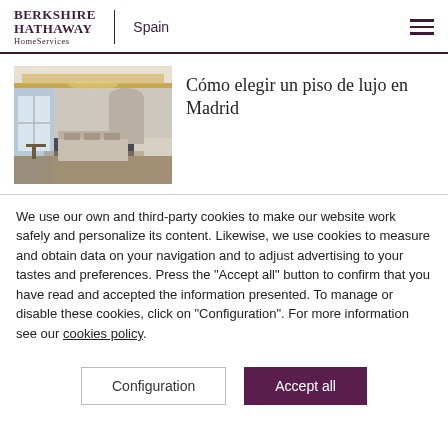BERKSHIRE HATHAWAY HomeServices | Spain
[Figure (photo): Interior photo of a luxury apartment room with ornate ceiling, large windows, and elegant furnishings]
Cómo elegir un piso de lujo en Madrid
We use our own and third-party cookies to make our website work safely and personalize its content. Likewise, we use cookies to measure and obtain data on your navigation and to adjust advertising to your tastes and preferences. Press the "Accept all" button to confirm that you have read and accepted the information presented. To manage or disable these cookies, click on "Configuration". For more information see our cookies policy.
Configuration
Accept all